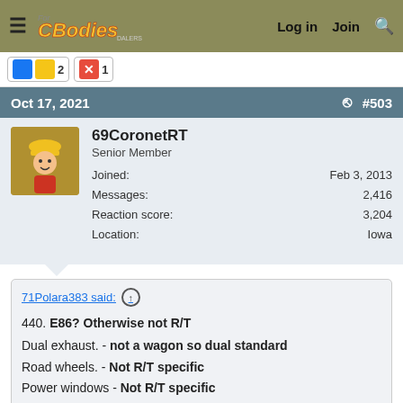For C Bodies Only Classic Mopar Forum — Log in  Join  Search
[Figure (screenshot): Reaction icon badges showing a blue/gold icon with count 2 and a red X icon with count 1]
Oct 17, 2021  #503
69CoronetRT
Senior Member
Joined: Feb 3, 2013
Messages: 2,416
Reaction score: 3,204
Location: Iowa
71Polara383 said:
440. E86? Otherwise not R/T
Dual exhaust. - not a wagon so dual standard
Road wheels. - Not R/T specific
Power windows - Not R/T specific
Power driver seat - Not R/T specific
Cruise control - Not R/T specific
AM/FM Multiplex - Not R/T specific
Tilt/Rimblow- Not R/T specific